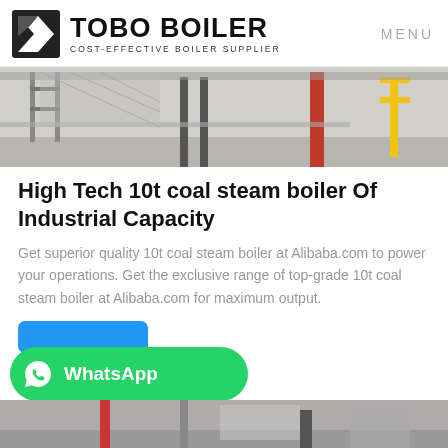TOBO BOILER — COST-EFFECTIVE BOILER SUPPLIER | MENU
[Figure (photo): Industrial boiler facility interior showing metal framework, pipes, and yellow safety equipment]
High Tech 10t coal steam boiler Of Industrial Capacity
Get superior quality 10t coal steam boiler at Alibaba.com to power your operations. Get the exclusive range of top-grade 10t coal steam boiler at Alibaba.com for maximum output.
[Figure (screenshot): WhatsApp contact button (green) and a blue call-to-action button]
[Figure (photo): Bottom partial image of industrial boiler equipment]